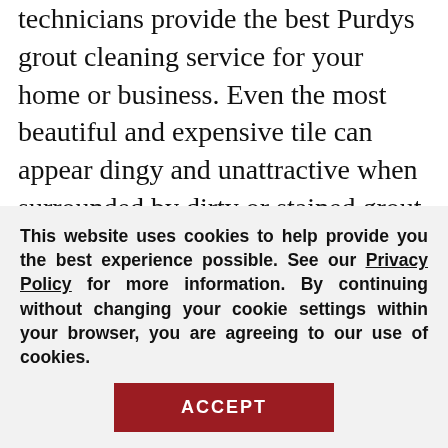technicians provide the best Purdys grout cleaning service for your home or business. Even the most beautiful and expensive tile can appear dingy and unattractive when surrounded by dirty or stained grout. Foot traffic, spills, improper cleaning methods and products can cause grout and tiles to look unappealing, but Sir Grout's superior Purdys grout cleaning process can make them look brand new.
See What Others Are Saying About Us
This website uses cookies to help provide you the best experience possible. See our Privacy Policy for more information. By continuing without changing your cookie settings within your browser, you are agreeing to our use of cookies.
ACCEPT